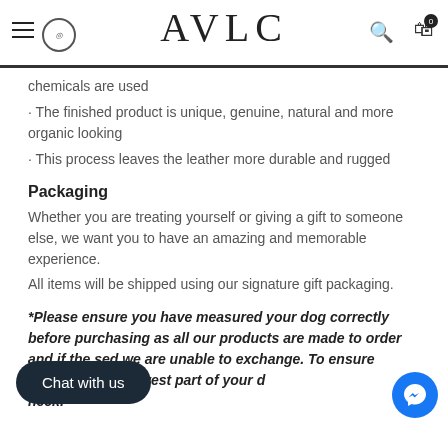AVLC – navigation bar with hamburger menu, logo, search and cart icons
chemicals are used
- The finished product is unique, genuine, natural and more organic looking
- This process leaves the leather more durable and rugged
Packaging
Whether you are treating yourself or giving a gift to someone else, we want you to have an amazing and memorable experience.
All items will be shipped using our signature gift packaging.
*Please ensure you have measured your dog correctly before purchasing as all our products are made to order and if the [wrong size is purcha]sed we are unable to exchange. To ensure [the correct fit, measure] around the narrowest part of your d[og's] neck.